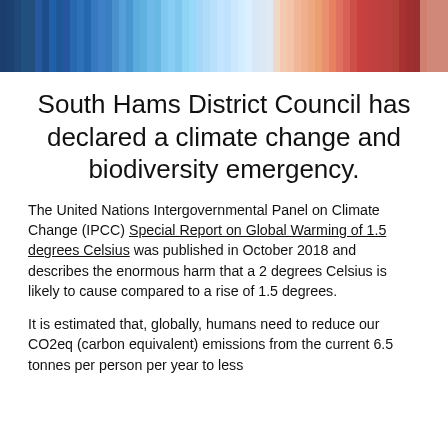[Figure (infographic): Warming stripes visualization — vertical bars transitioning from dark blue on the left through lighter blues and then to pinkish-red on the right, representing rising global temperatures over time.]
South Hams District Council has declared a climate change and biodiversity emergency.
The United Nations Intergovernmental Panel on Climate Change (IPCC) Special Report on Global Warming of 1.5 degrees Celsius was published in October 2018 and describes the enormous harm that a 2 degrees Celsius is likely to cause compared to a rise of 1.5 degrees.
It is estimated that, globally, humans need to reduce our CO2eq (carbon equivalent) emissions from the current 6.5 tonnes per person per year to less